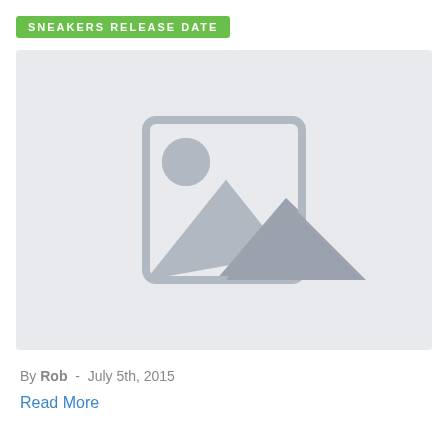SNEAKERS RELEASE DATE
[Figure (illustration): Placeholder image with mountain and sun icon on light gray background]
By Rob - July 5th, 2015
Read More